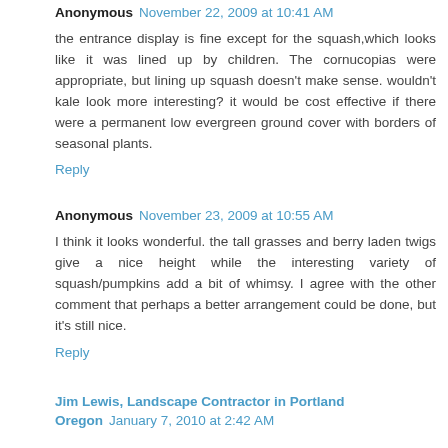Anonymous November 22, 2009 at 10:41 AM
the entrance display is fine except for the squash,which looks like it was lined up by children. The cornucopias were appropriate, but lining up squash doesn't make sense. wouldn't kale look more interesting? it would be cost effective if there were a permanent low evergreen ground cover with borders of seasonal plants.
Reply
Anonymous November 23, 2009 at 10:55 AM
I think it looks wonderful. the tall grasses and berry laden twigs give a nice height while the interesting variety of squash/pumpkins add a bit of whimsy. I agree with the other comment that perhaps a better arrangement could be done, but it's still nice.
Reply
Jim Lewis, Landscape Contractor in Portland Oregon January 7, 2010 at 2:42 AM